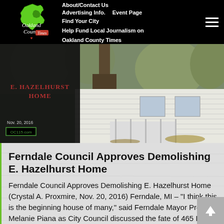About/Contact Us | Advertising Info. | Event Page | Find Your City | Help Fund Local Journalism on Oakland County Times
[Figure (photo): E. Hazelhurst Home photo with black overlay label, dated Nov. 20, 2016, OC115.com watermark, showing a white house exterior with trees]
Ferndale Council Approves Demolishing E. Hazelhurst Home
Ferndale Council Approves Demolishing E. Hazelhurst Home (Crystal A. Proxmire, Nov. 20, 2016) Ferndale, MI – “I think this is the beginning house of many,” said Ferndale Mayor Pro Tem Melanie Piana as City Council discussed the fate of 465 E.